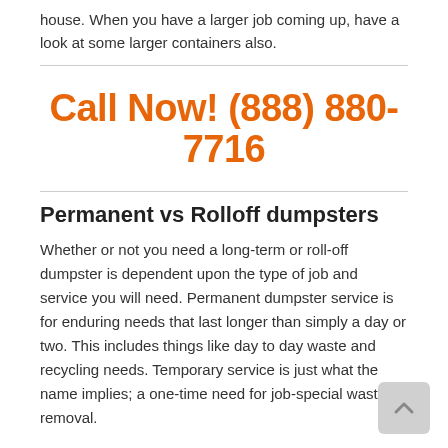house. When you have a larger job coming up, have a look at some larger containers also.
Call Now! (888) 880-7716
Permanent vs Rolloff dumpsters
Whether or not you need a long-term or roll-off dumpster is dependent upon the type of job and service you will need. Permanent dumpster service is for enduring needs that last longer than simply a day or two. This includes things like day to day waste and recycling needs. Temporary service is just what the name implies; a one-time need for job-special waste removal.
Temporary roll-off dumpsters are delivered on a truck and are rolled off where they'll be used. All these are usually larger